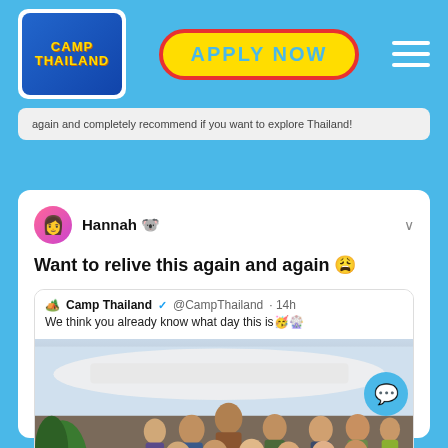Camp Thailand - APPLY NOW
again and completely recommend if you want to explore Thailand!
Hannah
Want to relive this again and again 😩
Camp Thailand ✓ @CampThailand · 14h
We think you already know what day this is 🥳🎡
[Figure (photo): Group photo of approximately 20 people wearing floral/Hawaiian shirts, posing together outdoors near a pool area]